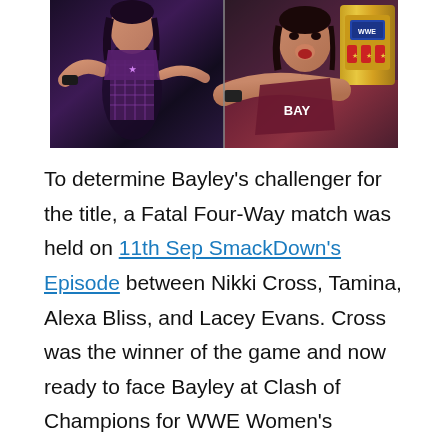[Figure (photo): Two-panel photo: left panel shows a female wrestler in dark purple fishnets and costume performing; right panel shows Bayley holding a WWE SmackDown Women's Championship belt, wearing a maroon 'BAY' top.]
To determine Bayley's challenger for the title, a Fatal Four-Way match was held on 11th Sep SmackDown's Episode between Nikki Cross, Tamina, Alexa Bliss, and Lacey Evans. Cross was the winner of the game and now ready to face Bayley at Clash of Champions for WWE Women's SmackDown Championship.